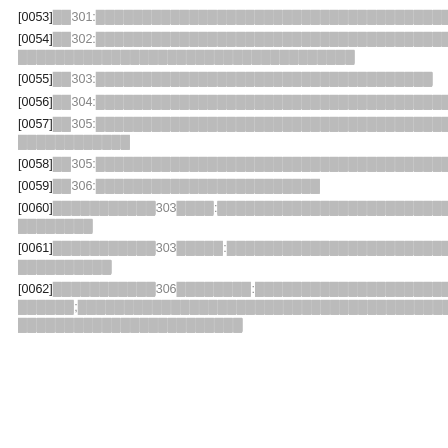[0053] 301: [redacted text]
[0054] 302: [redacted text spanning two lines]
[0055] 303: [redacted text]
[0056] 304: [redacted text]
[0057] 305: [redacted text spanning two lines]
[0058] 305: [redacted text]
[0059] 306: [redacted text]
[0060] [redacted]303[redacted]: [redacted text spanning two lines]
[0061] [redacted]303[redacted]: [redacted text spanning two lines]
[0062] [redacted]306[redacted]: [redacted text]; [redacted]200[redacted] [redacted text]